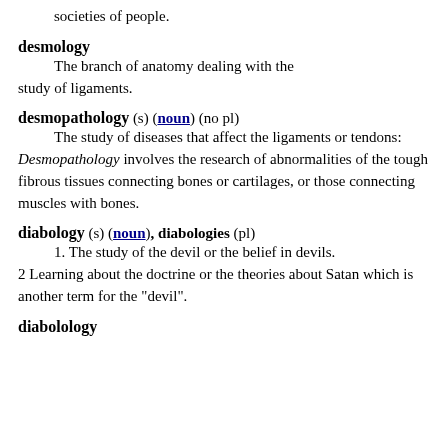societies of people.
desmology
The branch of anatomy dealing with the study of ligaments.
desmopathology (s) (noun) (no pl)
The study of diseases that affect the ligaments or tendons: Desmopathology involves the research of abnormalities of the tough fibrous tissues connecting bones or cartilages, or those connecting muscles with bones.
diabology (s) (noun), diabologies (pl)
1. The study of the devil or the belief in devils.
2 Learning about the doctrine or the theories about Satan which is another term for the "devil".
diabolology